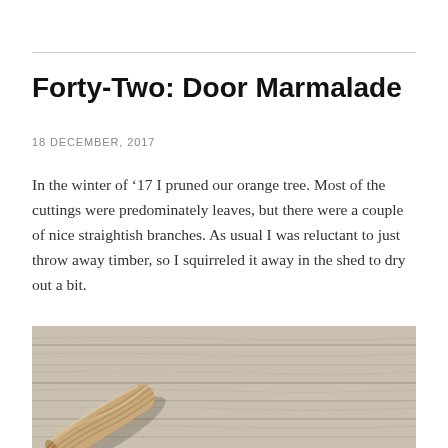Forty-Two: Door Marmalade
18 DECEMBER, 2017
In the winter of ’17 I pruned our orange tree. Most of the cuttings were predominately leaves, but there were a couple of nice straightish branches. As usual I was reluctant to just throw away timber, so I squirreled it away in the shed to dry out a bit.
[Figure (photo): A bundle of twisted rope or twine lying on a weathered wooden plank surface, viewed from above at an angle. The rope is a natural tan/brown color and the planks are light grey-beige with wood grain texture.]